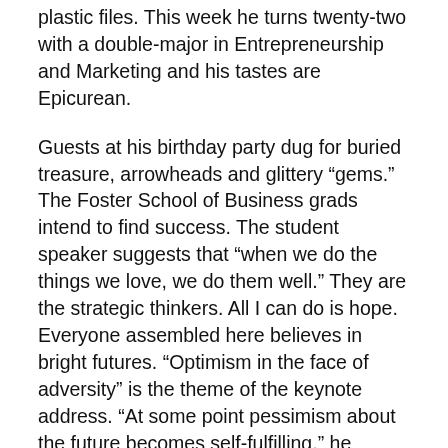plastic files. This week he turns twenty-two with a double-major in Entrepreneurship and Marketing and his tastes are Epicurean.
Guests at his birthday party dug for buried treasure, arrowheads and glittery “gems.” The Foster School of Business grads intend to find success. The student speaker suggests that “when we do the things we love, we do them well.” They are the strategic thinkers. All I can do is hope. Everyone assembled here believes in bright futures. “Optimism in the face of adversity” is the theme of the keynote address. “At some point pessimism about the future becomes self-fulfilling,” he warns. Don’t be afraid to fail.
As little Indiana Jones he practiced cracking his make-shift bullwhip on the patio floor, again and again.  Today he is